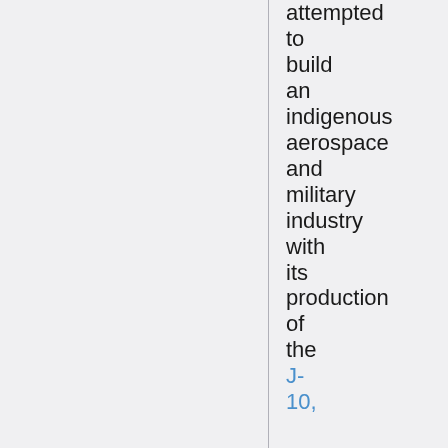attempted to build an indigenous aerospace and military industry with its production of the J-10,